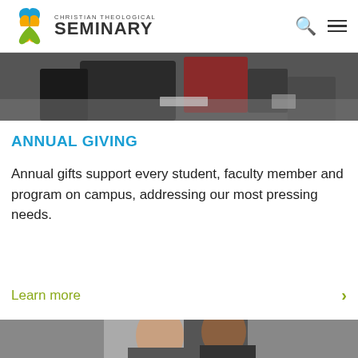Christian Theological Seminary
[Figure (photo): Top portion of a photo showing people at a table, partially cropped at top]
ANNUAL GIVING
Annual gifts support every student, faculty member and program on campus, addressing our most pressing needs.
Learn more
[Figure (photo): Bottom portion showing two people, partially cropped, beginning of next section]